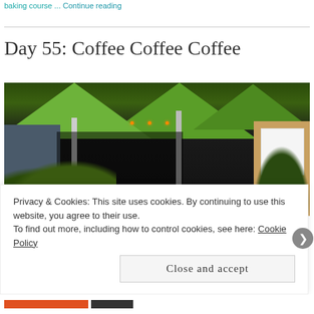baking course ... Continue reading
Day 55: Coffee Coffee Coffee
[Figure (photo): Outdoor cafe scene with green patio umbrellas, glass facade, hanging lights, potted plants, and a yellow building on the right.]
Privacy & Cookies: This site uses cookies. By continuing to use this website, you agree to their use.
To find out more, including how to control cookies, see here: Cookie Policy
Close and accept